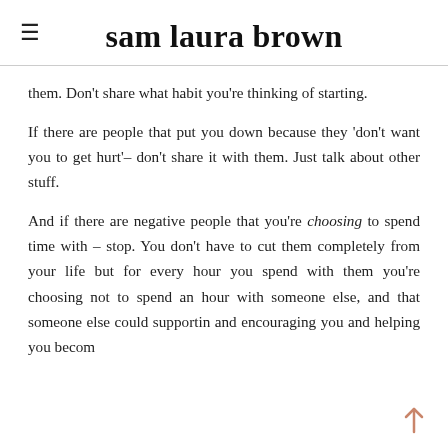sam laura brown
them. Don't share what habit you're thinking of starting.
If there are people that put you down because they 'don't want you to get hurt'– don't share it with them. Just talk about other stuff.
And if there are negative people that you're choosing to spend time with – stop. You don't have to cut them completely from your life but for every hour you spend with them you're choosing not to spend an hour with someone else, and that someone else could supporting and encouraging you and helping you become